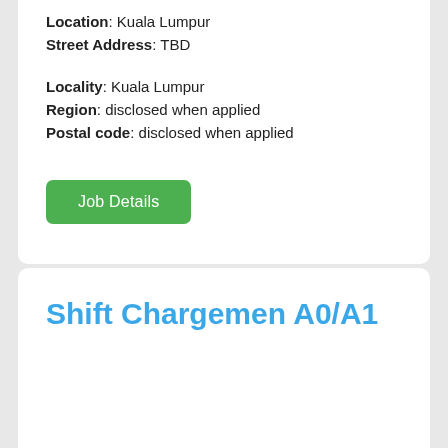Location: Kuala Lumpur
Street Address: TBD
Locality: Kuala Lumpur
Region: disclosed when applied
Postal code: disclosed when applied
Job Details
Shift Chargemen A0/A1